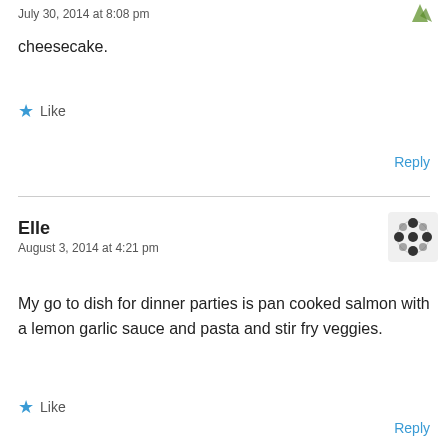July 30, 2014 at 8:08 pm
cheesecake.
Like
Reply
Elle
August 3, 2014 at 4:21 pm
My go to dish for dinner parties is pan cooked salmon with a lemon garlic sauce and pasta and stir fry veggies.
Like
Reply